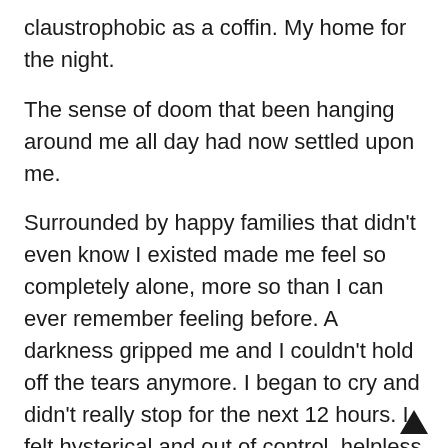claustrophobic as a coffin. My home for the night.
The sense of doom that been hanging around me all day had now settled upon me.
Surrounded by happy families that didn't even know I existed made me feel so completely alone, more so than I can ever remember feeling before. A darkness gripped me and I couldn't hold off the tears anymore. I began to cry and didn't really stop for the next 12 hours. I felt hysterical and out of control, helpless and hopeless.
What the hell was wrong with me?